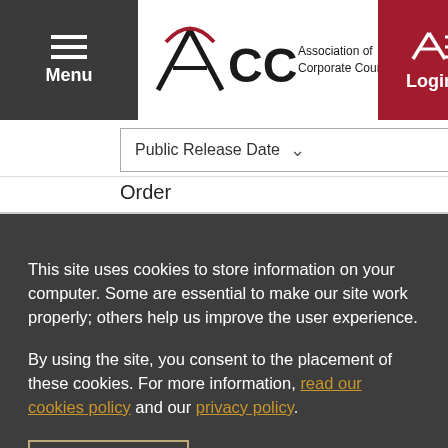[Figure (logo): ACC - Association of Corporate Counsel logo with hamburger menu and login button in header]
Public Release Date ˅
Order
This site uses cookies to store information on your computer. Some are essential to make our site work properly; others help us improve the user experience.
By using the site, you consent to the placement of these cookies. For more information, read our cookies policy and our privacy policy.
✓  Accept